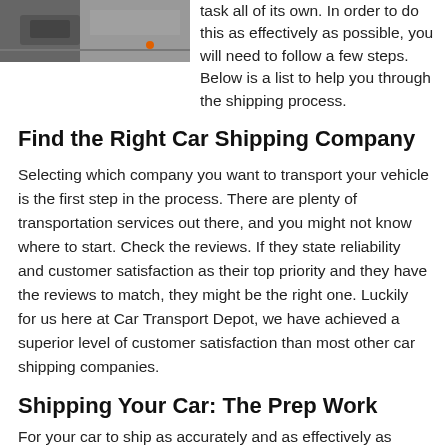[Figure (photo): Top portion of a photo showing what appears to be car transport or shipping related imagery with orange element visible]
task all of its own. In order to do this as effectively as possible, you will need to follow a few steps. Below is a list to help you through the shipping process.
Find the Right Car Shipping Company
Selecting which company you want to transport your vehicle is the first step in the process. There are plenty of transportation services out there, and you might not know where to start. Check the reviews. If they state reliability and customer satisfaction as their top priority and they have the reviews to match, they might be the right one. Luckily for us here at Car Transport Depot, we have achieved a superior level of customer satisfaction than most other car shipping companies.
Shipping Your Car: The Prep Work
For your car to ship as accurately and as effectively as possible